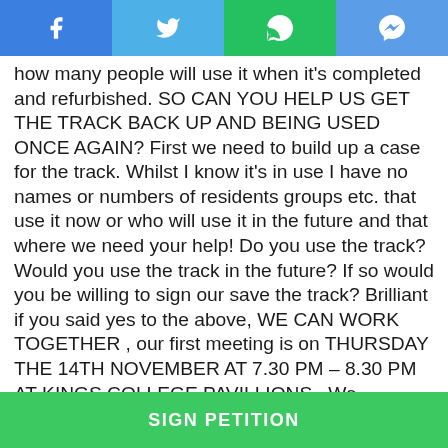[Figure (screenshot): Social media share buttons: Facebook (blue), Twitter (light blue), WhatsApp (green), Messenger (blue)]
how many people will use it when it’s completed and refurbished. SO CAN YOU HELP US GET THE TRACK BACK UP AND BEING USED ONCE AGAIN? First we need to build up a case for the track. Whilst I know it’s in use I have no names or numbers of residents groups etc. that use it now or who will use it in the future and that where we need your help! Do you use the track? Would you use the track in the future? If so would you be willing to sign our save the track? Brilliant if you said yes to the above, WE CAN WORK TOGETHER , our first meeting is on THURSDAY THE 14TH NOVEMBER AT 7.30 PM – 8.30 PM AT KINGS COLLEGE PAVILLIONS . We welcome everyone that can make it. If you can’t commit but would
SIGN PETITION